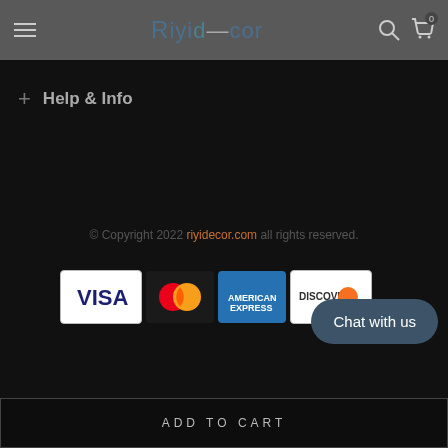Riyidecor
+ Help & Info
© Copyright 2022 riyidecor.com all rights reserved.
[Figure (other): Payment method logos: Visa, Mastercard, American Express, Discover]
Chat with us
ADD TO CART